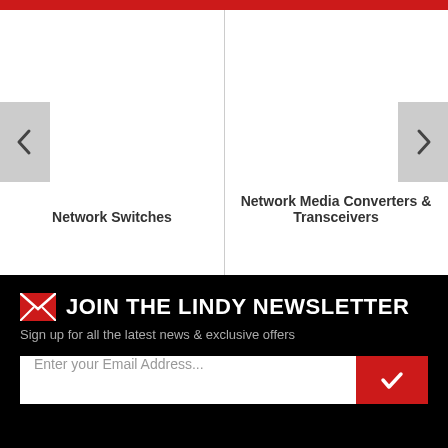[Figure (screenshot): Website carousel showing two product categories: Network Switches (left) and Network Media Converters & Transceivers (right), with left and right navigation arrows on either side]
Network Switches
Network Media Converters & Transceivers
JOIN THE LINDY NEWSLETTER
Sign up for all the latest news & exclusive offers
Enter your Email Address...